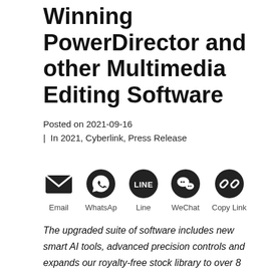Winning PowerDirector and other Multimedia Editing Software
Posted on 2021-09-16
| In 2021, Cyberlink, Press Release
[Figure (infographic): Row of social sharing icons: Email (envelope), WhatsApp (phone handset in circle), Line (LINE logo in dark circle), WeChat (two speech bubbles), Copy Link (chain link icon). Labels below each icon.]
The upgraded suite of software includes new smart AI tools, advanced precision controls and expands our royalty-free stock library to over 8 million videos, images, and music.